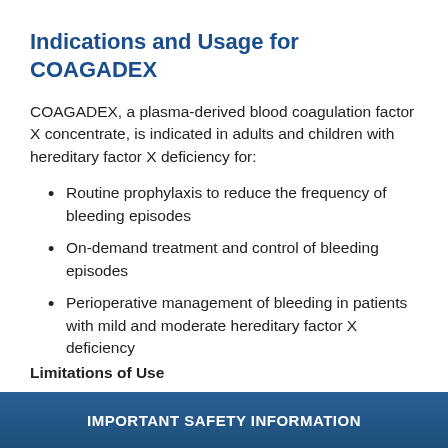Indications and Usage for COAGADEX
COAGADEX, a plasma-derived blood coagulation factor X concentrate, is indicated in adults and children with hereditary factor X deficiency for:
Routine prophylaxis to reduce the frequency of bleeding episodes
On-demand treatment and control of bleeding episodes
Perioperative management of bleeding in patients with mild and moderate hereditary factor X deficiency
IMPORTANT SAFETY INFORMATION